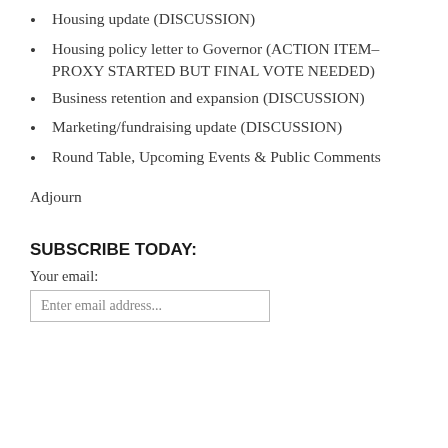Housing update (DISCUSSION)
Housing policy letter to Governor (ACTION ITEM–PROXY STARTED BUT FINAL VOTE NEEDED)
Business retention and expansion (DISCUSSION)
Marketing/fundraising update (DISCUSSION)
Round Table, Upcoming Events & Public Comments
Adjourn
SUBSCRIBE TODAY:
Your email:
Enter email address...